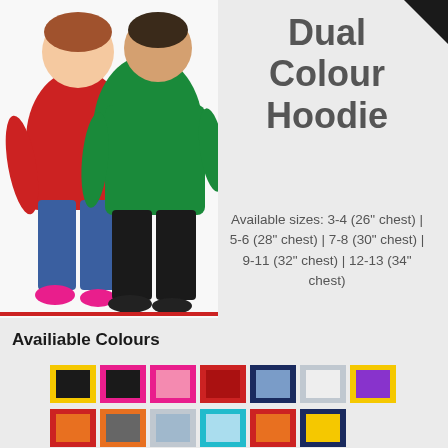[Figure (photo): Two people wearing dual colour hoodies — one in red hoodie with blue jeans, one in green hoodie with black trousers]
Dual Colour Hoodie
Available sizes: 3-4 (26" chest) | 5-6 (28" chest) | 7-8 (30" chest) | 9-11 (32" chest) | 12-13 (34" chest)
Availiable Colours
[Figure (illustration): Grid of colour swatches showing available hoodie colour combinations: yellow/black, pink/black, pink/black, red/black, navy/light-blue, white/light-grey, yellow/purple in top row; red/orange, grey/dark-grey, light-blue/grey, cyan/light-grey, red/orange, dark-navy/yellow in bottom row]